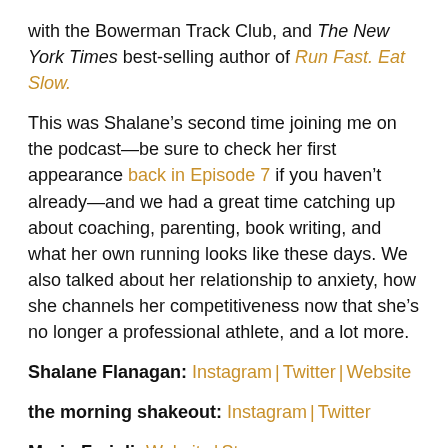with the Bowerman Track Club, and The New York Times best-selling author of Run Fast. Eat Slow.
This was Shalane’s second time joining me on the podcast—be sure to check her first appearance back in Episode 7 if you haven’t already—and we had a great time catching up about coaching, parenting, book writing, and what her own running looks like these days. We also talked about her relationship to anxiety, how she channels her competitiveness now that she’s no longer a professional athlete, and a lot more.
Shalane Flanagan: Instagram | Twitter | Website
the morning shakeout: Instagram | Twitter
Mario Fraioli: Website | Strava